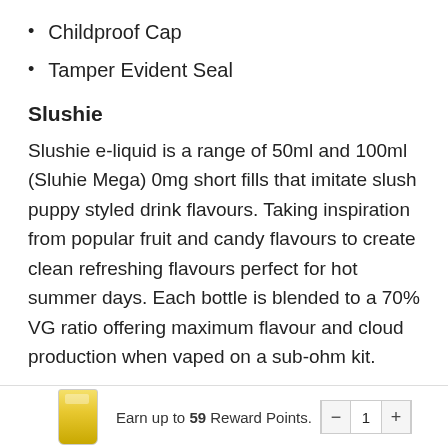Childproof Cap
Tamper Evident Seal
Slushie
Slushie e-liquid is a range of 50ml and 100ml (Sluhie Mega) 0mg short fills that imitate slush puppy styled drink flavours. Taking inspiration from popular fruit and candy flavours to create clean refreshing flavours perfect for hot summer days. Each bottle is blended to a 70% VG ratio offering maximum flavour and cloud production when vaped on a sub-ohm kit.
Slushie Salts are also available in 10mg and 20mg.
Earn up to 59 Reward Points.  -  1  +